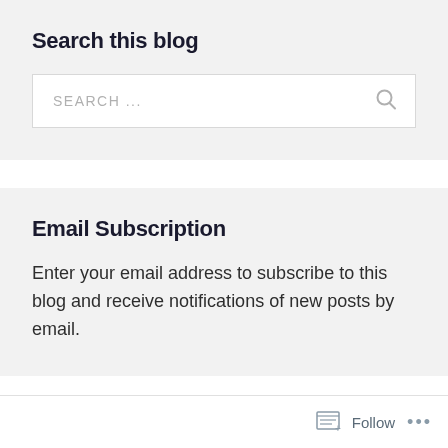Search this blog
SEARCH ...
Email Subscription
Enter your email address to subscribe to this blog and receive notifications of new posts by email.
Follow ...